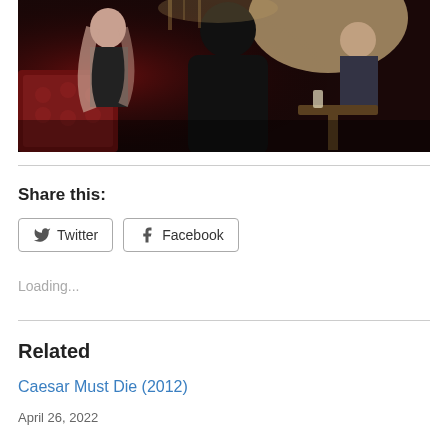[Figure (photo): A dark nightclub/bar scene with people in dimly lit environment with red lighting, a person in dark outfit in the foreground and people seated in the background.]
Share this:
Twitter
Facebook
Loading...
Related
Caesar Must Die (2012)
April 26, 2022